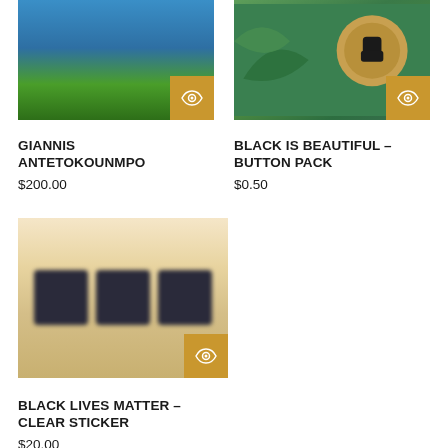[Figure (photo): Product image for Giannis Antetokounmpo - blue and green background with eye/quick-view button]
GIANNIS ANTETOKOUNMPO
$200.00
[Figure (photo): Product image for Black Is Beautiful Button Pack - green background with circular button/pin and eye/quick-view button]
BLACK IS BEAUTIFUL – BUTTON PACK
$0.50
[Figure (photo): Product image for Black Lives Matter Clear Sticker - warm beige background with blurred dark sticker text and eye/quick-view button]
BLACK LIVES MATTER – CLEAR STICKER
$20.00